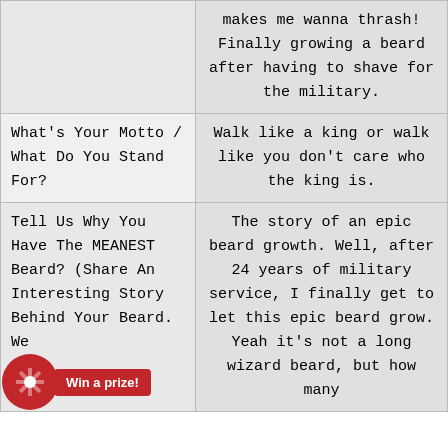| Question | Answer |
| --- | --- |
|  | makes me wanna thrash! Finally growing a beard after having to shave for the military. |
| What's Your Motto / What Do You Stand For? | Walk like a king or walk like you don't care who the king is. |
| Tell Us Why You Have The MEANEST Beard? (Share An Interesting Story Behind Your Beard. We | The story of an epic beard growth. Well, after 24 years of military service, I finally get to let this epic beard grow. Yeah it's not a long wizard beard, but how many |